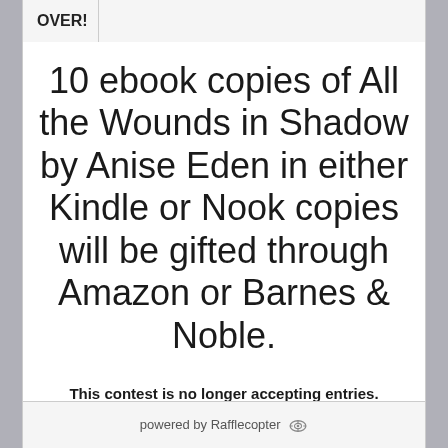OVER!
10 ebook copies of All the Wounds in Shadow by Anise Eden in either Kindle or Nook copies will be gifted through Amazon or Barnes & Noble.
This contest is no longer accepting entries.
powered by Rafflecopter